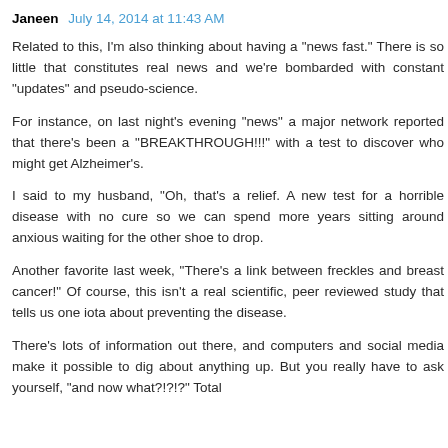Janeen  July 14, 2014 at 11:43 AM
Related to this, I'm also thinking about having a "news fast." There is so little that constitutes real news and we're bombarded with constant "updates" and pseudo-science.
For instance, on last night's evening "news" a major network reported that there's been a "BREAKTHROUGH!!!" with a test to discover who might get Alzheimer's.
I said to my husband, "Oh, that's a relief. A new test for a horrible disease with no cure so we can spend more years sitting around anxious waiting for the other shoe to drop.
Another favorite last week, "There's a link between freckles and breast cancer!" Of course, this isn't a real scientific, peer reviewed study that tells us one iota about preventing the disease.
There's lots of information out there, and computers and social media make it possible to dig about anything up. But you really have to ask yourself, "and now what?!?!?" Total